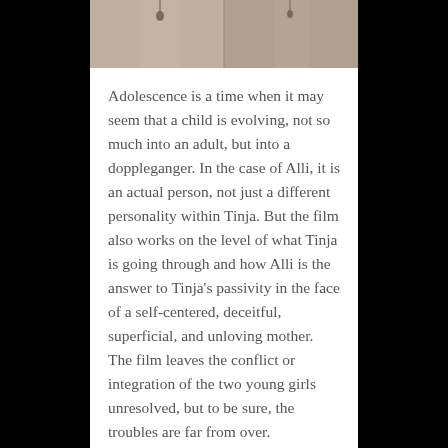[Figure (photo): Top portion of a photo strip showing two young girls or people, partially cropped at the top of the page]
Adolescence is a time when it may seem that a child is evolving, not so much into an adult, but into a doppleganger. In the case of Alli, it is an actual person, not just a different personality within Tinja. But the film also works on the level of what Tinja is going through and how Alli is the answer to Tinja's passivity in the face of a self-centered, deceitful, superficial, and unloving mother. The film leaves the conflict or integration of the two young girls unresolved, but to be sure, the troubles are far from over.